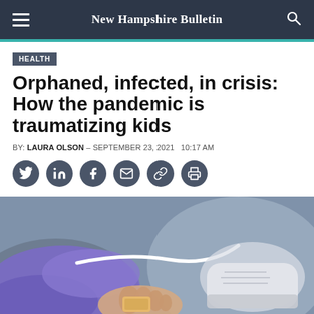New Hampshire Bulletin
HEALTH
Orphaned, infected, in crisis: How the pandemic is traumatizing kids
BY: LAURA OLSON - SEPTEMBER 23, 2021   10:17 AM
[Figure (other): Social sharing icons: Twitter, LinkedIn, Facebook, Email, Link, Print]
[Figure (photo): A gloved hand (purple nitrile glove) holding a child's foot with a bandage/tag, and a child's white sneaker visible in the background]